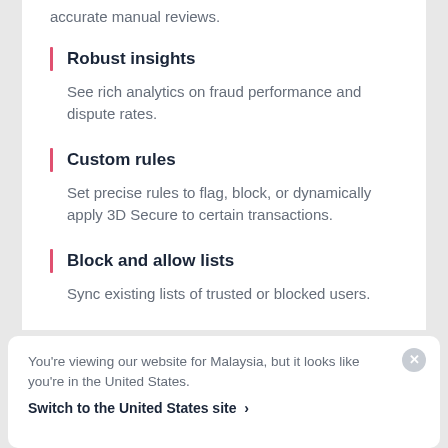accurate manual reviews.
Robust insights
See rich analytics on fraud performance and dispute rates.
Custom rules
Set precise rules to flag, block, or dynamically apply 3D Secure to certain transactions.
Block and allow lists
Sync existing lists of trusted or blocked users.
You’re viewing our website for Malaysia, but it looks like you’re in the United States.
Switch to the United States site ›